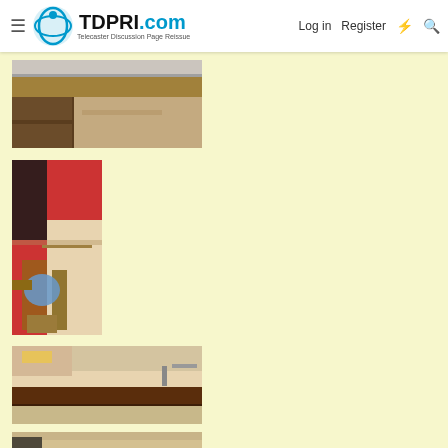TDPRI.com - Telecaster Discussion Page Reissue | Log in | Register
[Figure (photo): Workshop photo showing wooden shelving or furniture structure]
[Figure (photo): Workshop photo showing guitar body parts being worked on with tools, red wall in background]
[Figure (photo): Workshop photo showing guitar neck and body wood pieces laid out on a workbench]
[Figure (photo): Partial view of another workshop photo at bottom of page]